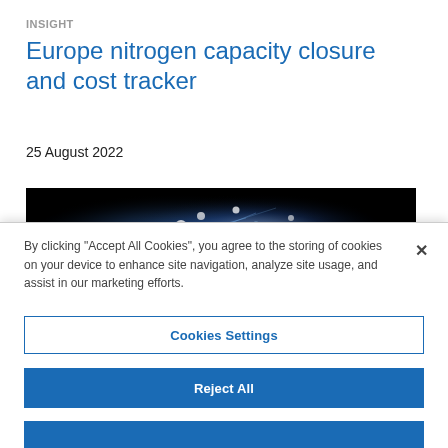INSIGHT
Europe nitrogen capacity closure and cost tracker
25 August 2022
[Figure (photo): Dark background with glowing blue fiber optic lights]
By clicking “Accept All Cookies”, you agree to the storing of cookies on your device to enhance site navigation, analyze site usage, and assist in our marketing efforts.
Cookies Settings
Reject All